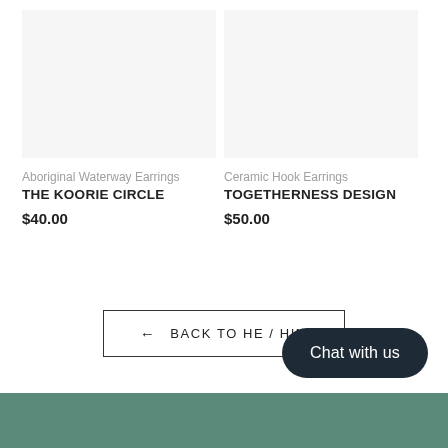Aboriginal Waterway Earrings
THE KOORIE CIRCLE
$40.00
Ceramic Hook Earrings
TOGETHERNESS DESIGN
$50.00
← BACK TO HE / HIM
Chat with us